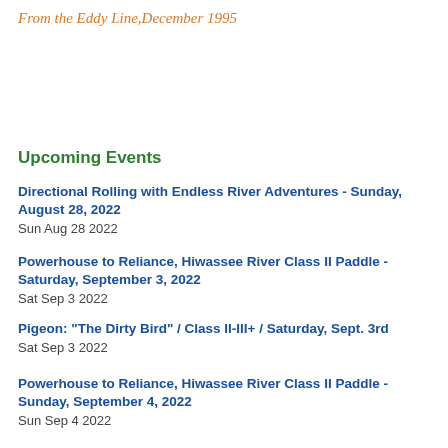From the Eddy Line,December 1995
Upcoming Events
Directional Rolling with Endless River Adventures - Sunday, August 28, 2022
Sun Aug 28 2022
Powerhouse to Reliance, Hiwassee River Class II Paddle - Saturday, September 3, 2022
Sat Sep 3 2022
Pigeon: "The Dirty Bird" / Class II-III+ / Saturday, Sept. 3rd
Sat Sep 3 2022
Powerhouse to Reliance, Hiwassee River Class II Paddle - Sunday, September 4, 2022
Sun Sep 4 2022